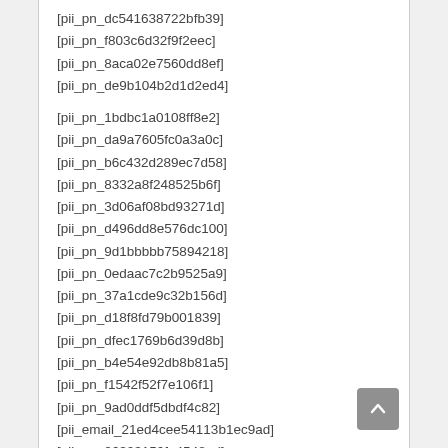[pii_pn_dc541638722bfb39]
[pii_pn_f803c6d32f9f2eec]
[pii_pn_8aca02e7560dd8ef]
[pii_pn_de9b104b2d1d2ed4]
[pii_pn_1bdbc1a0108ff8e2]
[pii_pn_da9a7605fc0a3a0c]
[pii_pn_b6c432d289ec7d58]
[pii_pn_8332a8f248525b6f]
[pii_pn_3d06af08bd93271d]
[pii_pn_d496dd8e576dc100]
[pii_pn_9d1bbbbb75894218]
[pii_pn_0edaac7c2b9525a9]
[pii_pn_37a1cde9c32b156d]
[pii_pn_d18f8fd79b001839]
[pii_pn_dfec1769b6d39d8b]
[pii_pn_b4e54e92db8b81a5]
[pii_pn_f1542f52f7e106f1]
[pii_pn_9ad0ddf5dbdf4c82]
[pii_email_21ed4cee54113b1ec9ad]
[pii_pn_06303150fe4548ad]